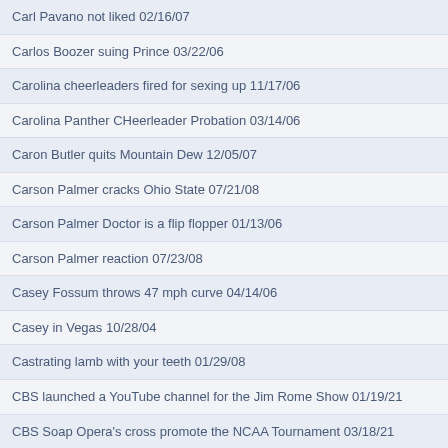Carl Pavano not liked 02/16/07
Carlos Boozer suing Prince 03/22/06
Carolina cheerleaders fired for sexing up 11/17/06
Carolina Panther CHeerleader Probation 03/14/06
Caron Butler quits Mountain Dew 12/05/07
Carson Palmer cracks Ohio State 07/21/08
Carson Palmer Doctor is a flip flopper 01/13/06
Carson Palmer reaction 07/23/08
Casey Fossum throws 47 mph curve 04/14/06
Casey in Vegas 10/28/04
Castrating lamb with your teeth 01/29/08
CBS launched a YouTube channel for the Jim Rome Show 01/19/21
CBS Soap Opera's cross promote the NCAA Tournament 03/18/21
CC Sabathia Gives Up Captain Crunch 02/15/11
CC Sabathia leaving the tribe 02/15/08
Celtics blow out Lakers and win title 06/18/08
Certainly Duke is Duke 02/05/07
Chad Johnson intervention 02/08/08
Chad Johnson wants his sex back 08/06/07
Chael Sonnen fired from UFC and FOX for testing positive for drugs; Rome will not make him forfeit his Smackoff title 07/01/14